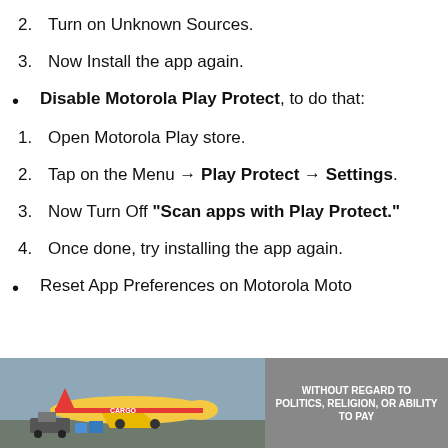2. Turn on Unknown Sources.
3. Now Install the app again.
Disable Motorola Play Protect, to do that:
1. Open Motorola Play store.
2. Tap on the Menu → Play Protect → Settings.
3. Now Turn Off “Scan apps with Play Protect.”
4. Once done, try installing the app again.
Reset App Preferences on Motorola Moto
[Figure (photo): Advertisement banner showing an airplane with cargo, text reading 'WITHOUT REGARD TO POLITICS, RELIGION, OR ABILITY TO PAY']